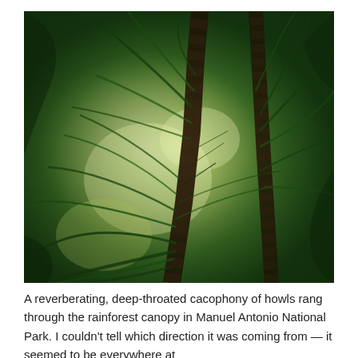[Figure (photo): Upward-looking photograph through a tropical rainforest canopy, showing tall palm trees with segmented trunks extending upward, lush green ferns and palm fronds fanning out, and bright light filtering through the dense green foliage above. The photo has a slightly warm, vintage-filtered tone.]
A reverberating, deep-throated cacophony of howls rang through the rainforest canopy in Manuel Antonio National Park. I couldn't tell which direction it was coming from — it seemed to be everywhere at